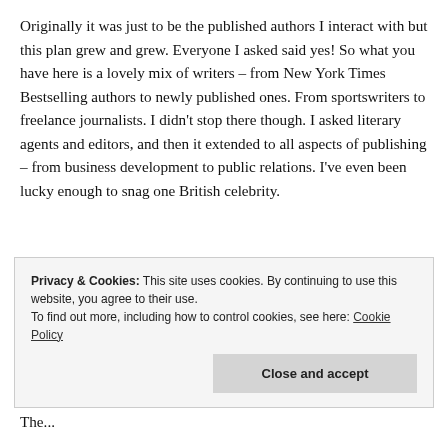Originally it was just to be the published authors I interact with but this plan grew and grew. Everyone I asked said yes! So what you have here is a lovely mix of writers – from New York Times Bestselling authors to newly published ones. From sportswriters to freelance journalists. I didn't stop there though. I asked literary agents and editors, and then it extended to all aspects of publishing – from business development to public relations. I've even been lucky enough to snag one British celebrity.
Privacy & Cookies: This site uses cookies. By continuing to use this website, you agree to their use. To find out more, including how to control cookies, see here: Cookie Policy
Close and accept
The...